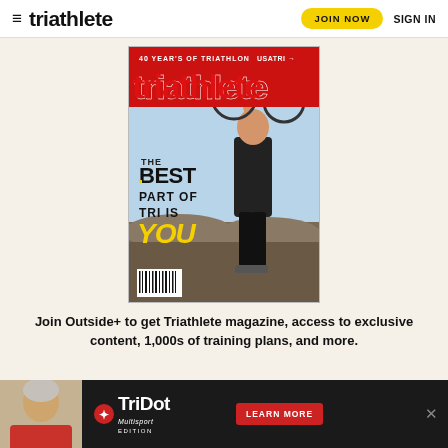triathlete | JOIN NOW | SIGN IN
[Figure (photo): Triathlete magazine cover showing a man holding a bicycle over his shoulder, standing on rocks. Text reads '40 YEARS OF TRIATHLON', 'USATRI', 'THE BEST PART OF TRI IS YOU']
Join Outside+ to get Triathlete magazine, access to exclusive content, 1,000s of training plans, and more.
[Figure (photo): TriDot advertisement banner with a man's photo on the left, TriDot Multisport Edition logo in white/red, and a red LEARN MORE button, with a close X on the right]